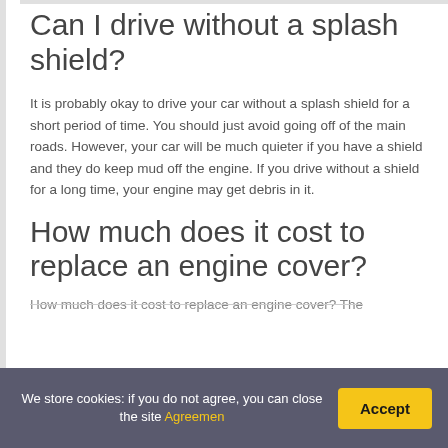Can I drive without a splash shield?
It is probably okay to drive your car without a splash shield for a short period of time. You should just avoid going off of the main roads. However, your car will be much quieter if you have a shield and they do keep mud off the engine. If you drive without a shield for a long time, your engine may get debris in it.
How much does it cost to replace an engine cover?
How much does it cost to replace an engine cover? The
We store cookies: if you do not agree, you can close the site Agreemen